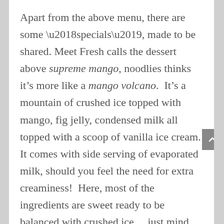Apart from the above menu, there are some ‘specials’, made to be shared. Meet Fresh calls the dessert above supreme mango, noodlies thinks it’s more like a mango volcano.  It’s a mountain of crushed ice topped with mango, fig jelly, condensed milk all topped with a scoop of vanilla ice cream. It comes with side serving of evaporated milk, should you feel the need for extra creaminess!  Here, most of the ingredients are sweet ready to be balanced with crushed ice… just mind the cold white lava of condensed milk and ice cream!